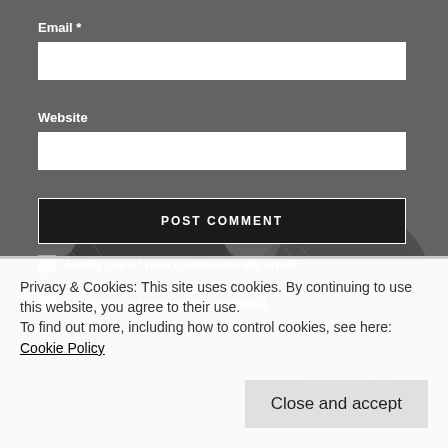Email *
[Figure (other): Website input form field (empty text input box)]
Website
[Figure (other): Email input form field (empty text input box)]
POST COMMENT
Notify me of new comments via email.
Notify me of new posts via email.
Privacy & Cookies: This site uses cookies. By continuing to use this website, you agree to their use.
To find out more, including how to control cookies, see here: Cookie Policy
Close and accept